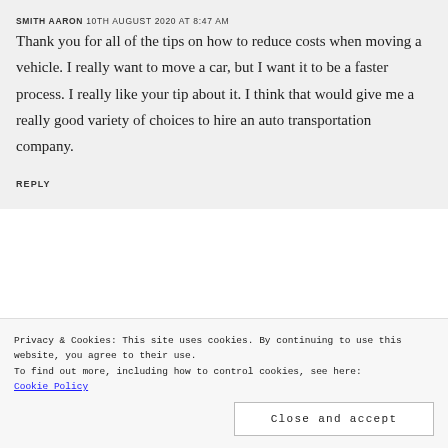SMITH AARON 10th August 2020 at 8:47 am
Thank you for all of the tips on how to reduce costs when moving a vehicle. I really want to move a car, but I want it to be a faster process. I really like your tip about it. I think that would give me a really good variety of choices to hire an auto transportation company.
REPLY
Privacy & Cookies: This site uses cookies. By continuing to use this website, you agree to their use.
To find out more, including how to control cookies, see here: Cookie Policy
Close and accept